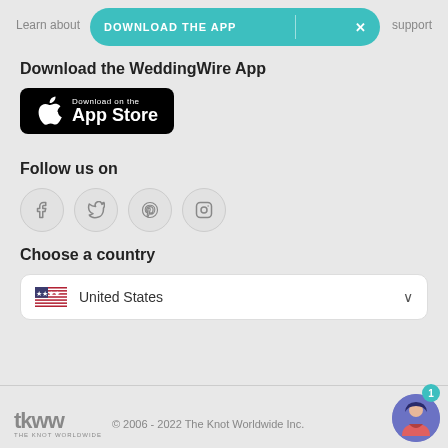Learn about  support
[Figure (screenshot): Teal download app button with 'DOWNLOAD THE APP' text and X close button]
Download the WeddingWire App
[Figure (logo): Apple App Store download button - black rounded rectangle with Apple logo, 'Download on the App Store' text]
Follow us on
[Figure (infographic): Four social media icons in circles: Facebook, Twitter, Pinterest, Instagram]
Choose a country
[Figure (screenshot): Country selector dropdown showing US flag and 'United States' with chevron]
tkww THE KNOT WORLDWIDE © 2006 - 2022 The Knot Worldwide Inc.